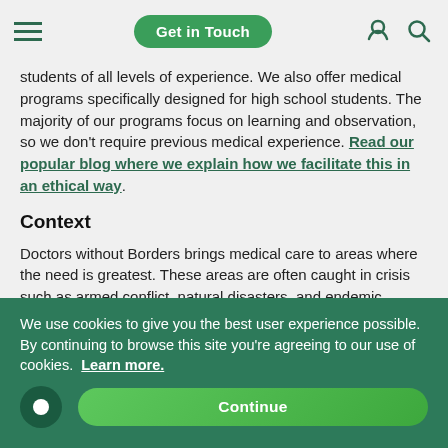Get in Touch
students of all levels of experience. We also offer medical programs specifically designed for high school students. The majority of our programs focus on learning and observation, so we don't require previous medical experience. Read our popular blog where we explain how we facilitate this in an ethical way.
Context
Doctors without Borders brings medical care to areas where the need is greatest. These areas are often caught in crisis such as armed conflict, natural disasters, and endemic disease.
We use cookies to give you the best user experience possible. By continuing to browse this site you're agreeing to our use of cookies. Learn more.